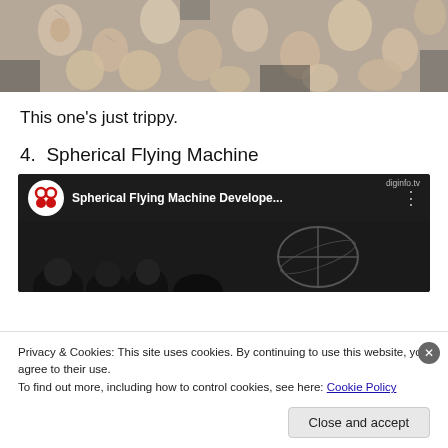[Figure (photo): A trippy photo showing many faces and masks packed together, viewed from above or at an angle, appearing distorted and surreal.]
This one's just trippy.
4.  Spherical Flying Machine
[Figure (screenshot): Embedded YouTube video titled 'Spherical Flying Machine Develope...' with a dark background showing audience and a spherical device. The diginfo.tv watermark is visible. Below is a cookie consent banner saying 'Privacy & Cookies: This site uses cookies. By continuing to use this website, you agree to their use. To find out more, including how to control cookies, see here: Cookie Policy' with a 'Close and accept' button.]
Privacy & Cookies: This site uses cookies. By continuing to use this website, you agree to their use.
To find out more, including how to control cookies, see here: Cookie Policy
Close and accept